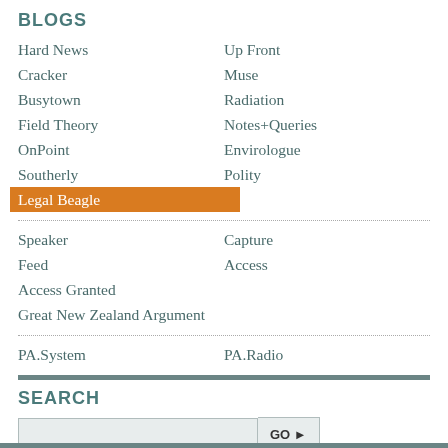BLOGS
Hard News
Up Front
Cracker
Muse
Busytown
Radiation
Field Theory
Notes+Queries
OnPoint
Envirologue
Southerly
Polity
Legal Beagle
Speaker
Capture
Feed
Access
Access Granted
Great New Zealand Argument
PA.System
PA.Radio
SEARCH
Ads by Scoop